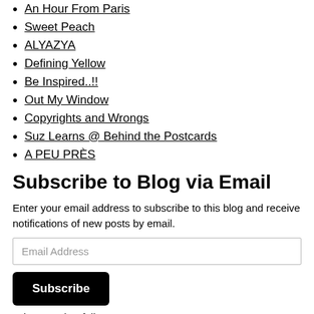An Hour From Paris
Sweet Peach
ALYAZYA
Defining Yellow
Be Inspired..!!
Out My Window
Copyrights and Wrongs
Suz Learns @ Behind the Postcards
A PEU PRÈS
Subscribe to Blog via Email
Enter your email address to subscribe to this blog and receive notifications of new posts by email.
Email Address
Subscribe
Join 458 other followers